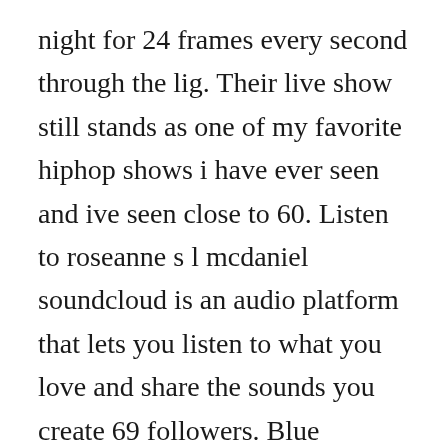night for 24 frames every second through the lig. Their live show still stands as one of my favorite hiphop shows i have ever seen and ive seen close to 60. Listen to roseanne s l mcdaniel soundcloud is an audio platform that lets you listen to what you love and share the sounds you create 69 followers. Blue scholars, an album by blue scholars on spotify. If the title is indicative of the albums conceptual bent, then we may be in for a sort of filmmusic amalgamation, which wouldnt be surprising given geos love and talent for movie criticism and sabzis own interest in